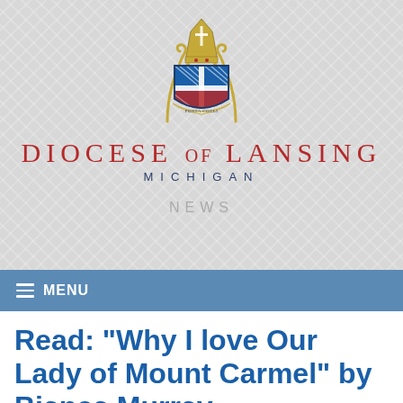[Figure (logo): Diocese of Lansing coat of arms crest with bishop's mitre, cross, and decorative shield in blue, gold, and red]
DIOCESE OF LANSING
MICHIGAN
NEWS
≡ MENU
Read: "Why I love Our Lady of Mount Carmel" by Bianca Murray